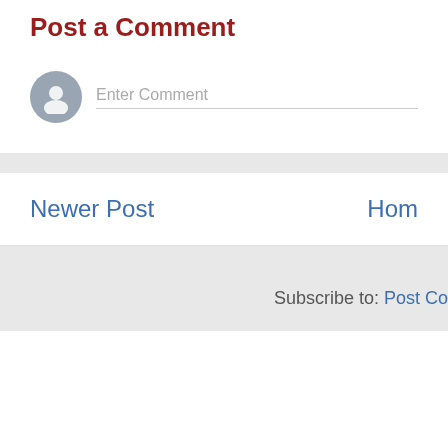Post a Comment
Enter Comment
Newer Post
Home
Subscribe to: Post Co…